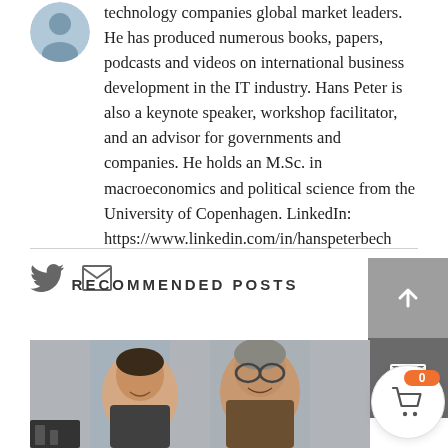[Figure (photo): Partial profile photo of a man (avatar, top-left), cropped circle]
technology companies global market leaders. He has produced numerous books, papers, podcasts and videos on international business development in the IT industry. Hans Peter is also a keynote speaker, workshop facilitator, and an advisor for governments and companies. He holds an M.Sc. in macroeconomics and political science from the University of Copenhagen. LinkedIn: https://www.linkedin.com/in/hanspeterbech
[Figure (other): Social media icons: Twitter bird icon and email envelope icon]
RECOMMENDED POSTS
[Figure (photo): Photo of two men smiling, professional setting]